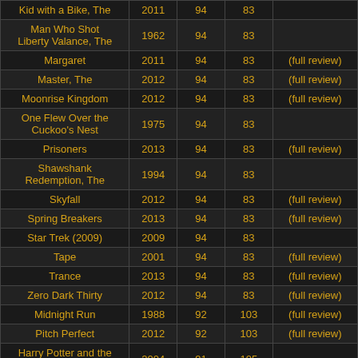| Title | Year | Col3 | Col4 |  |
| --- | --- | --- | --- | --- |
| Kid with a Bike, The | 2011 | 94 | 83 |  |
| Man Who Shot Liberty Valance, The | 1962 | 94 | 83 |  |
| Margaret | 2011 | 94 | 83 | (full review) |
| Master, The | 2012 | 94 | 83 | (full review) |
| Moonrise Kingdom | 2012 | 94 | 83 | (full review) |
| One Flew Over the Cuckoo's Nest | 1975 | 94 | 83 |  |
| Prisoners | 2013 | 94 | 83 | (full review) |
| Shawshank Redemption, The | 1994 | 94 | 83 |  |
| Skyfall | 2012 | 94 | 83 | (full review) |
| Spring Breakers | 2013 | 94 | 83 | (full review) |
| Star Trek (2009) | 2009 | 94 | 83 |  |
| Tape | 2001 | 94 | 83 | (full review) |
| Trance | 2013 | 94 | 83 | (full review) |
| Zero Dark Thirty | 2012 | 94 | 83 | (full review) |
| Midnight Run | 1988 | 92 | 103 | (full review) |
| Pitch Perfect | 2012 | 92 | 103 | (full review) |
| Harry Potter and the Prisoner of Azkaban | 2004 | 91 | 105 |  |
| Captain Phillips | 2013 | 90 | 106 | (full review) |
| On Her Majesty's | 1969 | 90 | 106 | (full review) |